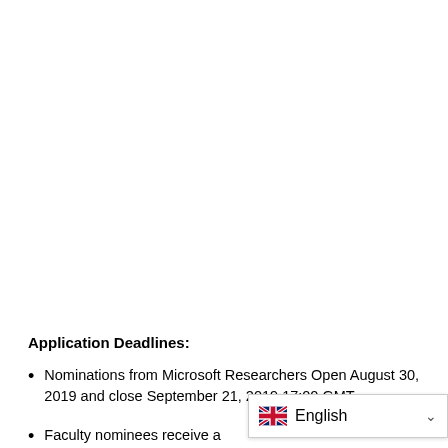Application Deadlines:
Nominations from Microsoft Researchers Open August 30, 2019 and close September 21, 2019 17:00 GMT
Faculty nominees receive a